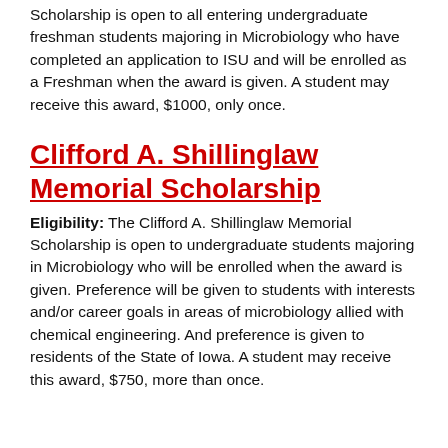Scholarship is open to all entering undergraduate freshman students majoring in Microbiology who have completed an application to ISU and will be enrolled as a Freshman when the award is given. A student may receive this award, $1000, only once.
Clifford A. Shillinglaw Memorial Scholarship
Eligibility: The Clifford A. Shillinglaw Memorial Scholarship is open to undergraduate students majoring in Microbiology who will be enrolled when the award is given. Preference will be given to students with interests and/or career goals in areas of microbiology allied with chemical engineering. And preference is given to residents of the State of Iowa. A student may receive this award, $750, more than once.